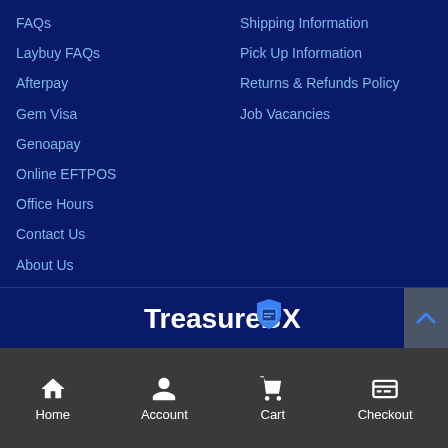FAQs
Laybuy FAQs
Afterpay
Gem Visa
Genoapay
Online EFTPOS
Office Hours
Contact Us
About Us
About Treasure Coins
Shipping Information
Pick Up Information
Returns & Refunds Policy
Job Vacancies
[Figure (logo): TreasureBOX logo with a blue shield/box icon replacing the letter O]
Home | Account | Cart | Checkout